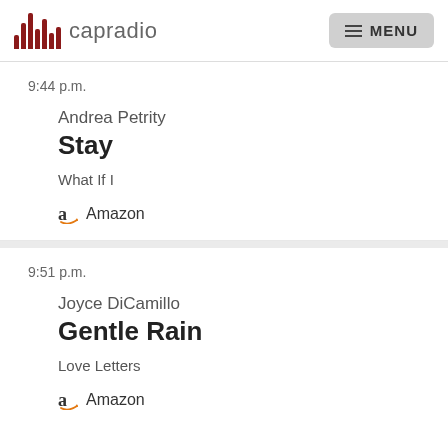capradio | MENU
9:44 p.m.
Andrea Petrity
Stay
What If I
Amazon
9:51 p.m.
Joyce DiCamillo
Gentle Rain
Love Letters
Amazon